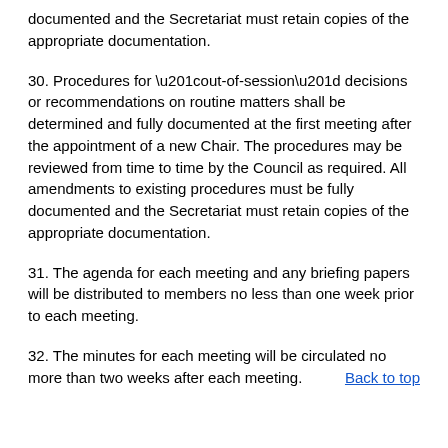documented and the Secretariat must retain copies of the appropriate documentation.
30. Procedures for “out-of-session” decisions or recommendations on routine matters shall be determined and fully documented at the first meeting after the appointment of a new Chair. The procedures may be reviewed from time to time by the Council as required. All amendments to existing procedures must be fully documented and the Secretariat must retain copies of the appropriate documentation.
31. The agenda for each meeting and any briefing papers will be distributed to members no less than one week prior to each meeting.
32. The minutes for each meeting will be circulated no more than two weeks after each meeting.